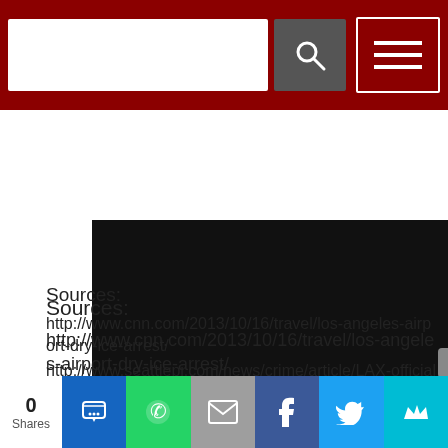[Figure (screenshot): Website navigation bar with dark red background containing a search input field, search button with magnifying glass icon, and hamburger menu button]
[Figure (screenshot): Dark video player thumbnail area with YouTube play button icon in lower right]
Sources:
http://www.cnn.com/2013/10/16/travel/los-angeles-airport-dry-ice-arrest/
http://www.seattlepi.com/news/crime/article/LAX-officials-eye-security-after-dry-ice-bombs-4899332.php
About the Author
Ginger Hill is Group Social Media Manager.
[Figure (screenshot): Social share bar with share count of 0, SMS, WhatsApp, email, Facebook, Twitter, and crown/other share buttons]